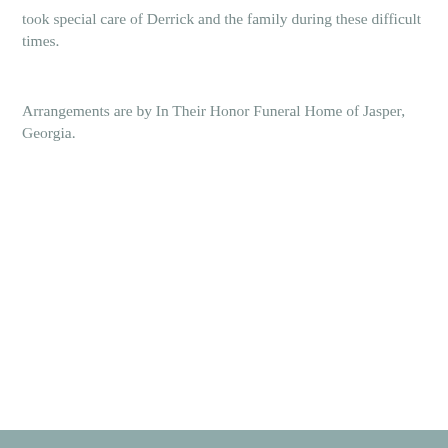took special care of Derrick and the family during these difficult times.
Arrangements are by In Their Honor Funeral Home of Jasper, Georgia.